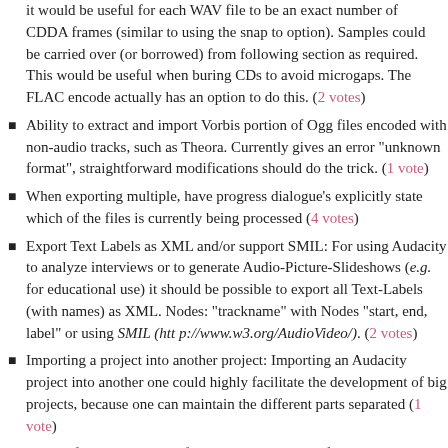it would be useful for each WAV file to be an exact number of CDDA frames (similar to using the snap to option). Samples could be carried over (or borrowed) from following section as required. This would be useful when buring CDs to avoid microgaps. The FLAC encode actually has an option to do this. (2 votes)
Ability to extract and import Vorbis portion of Ogg files encoded with non-audio tracks, such as Theora. Currently gives an error "unknown format", straightforward modifications should do the trick. (1 vote)
When exporting multiple, have progress dialogue's explicitly state which of the files is currently being processed (4 votes)
Export Text Labels as XML and/or support SMIL: For using Audacity to analyze interviews or to generate Audio-Picture-Slideshows (e.g. for educational use) it should be possible to export all Text-Labels (with names) as XML. Nodes: "trackname" with Nodes "start, end, label" or using SMIL (http://www.w3.org/AudioVideo/). (2 votes)
Importing a project into another project: Importing an Audacity project into another one could highly facilitate the development of big projects, because one can maintain the different parts separated (1 vote)
ID tags for each imported file: Multiple imported files should retain their own ID tags rather than take the tags of the first imported file (3 votes)